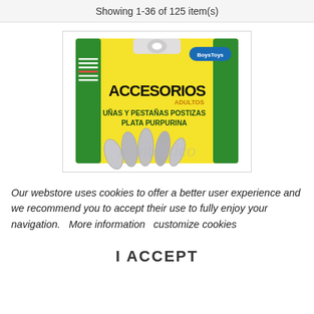Showing 1-36 of 125 item(s)
[Figure (photo): Product package image for BoysToys Accesorios Adultos - Uñas y Pestañas Postizas Plata Purpurina (silver glitter fake nails and eyelashes). Yellow and green packaging with silver nail accessories shown at bottom.]
Our webstore uses cookies to offer a better user experience and we recommend you to accept their use to fully enjoy your navigation.   More information   customize cookies
I ACCEPT